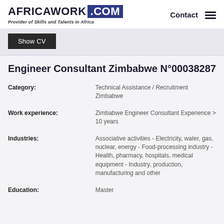AFRICAWORK .COM — Provider of Skills and Talents in Africa | Contact
Show CV
Engineer Consultant Zimbabwe N°00038287
| Field | Value |
| --- | --- |
| Category: | Technical Assistance / Recruitment Zimbabwe |
| Work experience: | Zimbabwe Engineer Consultant Experience > 10 years |
| Industries: | Associative activities - Electricity, water, gas, nuclear, energy - Food-processing industry - Health, pharmacy, hospitals, medical equipment - Industry, production, manufacturing and other |
| Education: | Master |